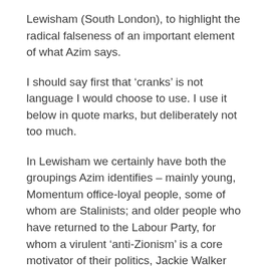Lewisham (South London), to highlight the radical falseness of an important element of what Azim says.
I should say first that ‘cranks’ is not language I would choose to use. I use it below in quote marks, but deliberately not too much.
In Lewisham we certainly have both the groupings Azim identifies – mainly young, Momentum office-loyal people, some of whom are Stalinists; and older people who have returned to the Labour Party, for whom a virulent ‘anti-Zionism’ is a core motivator of their politics, Jackie Walker fans. Far from being at loggerheads, though, they are part of a common project – against the class-struggle socialist left.